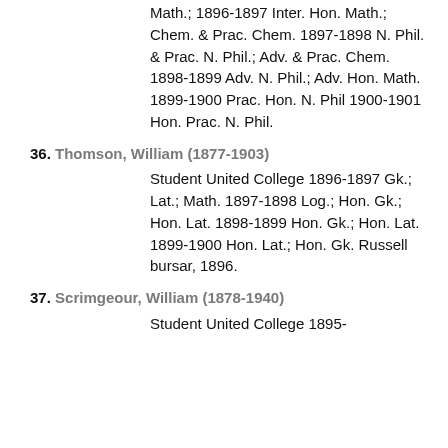Math.; 1896-1897 Inter. Hon. Math.; Chem. & Prac. Chem. 1897-1898 N. Phil. & Prac. N. Phil.; Adv. & Prac. Chem. 1898-1899 Adv. N. Phil.; Adv. Hon. Math. 1899-1900 Prac. Hon. N. Phil 1900-1901 Hon. Prac. N. Phil.
36. Thomson, William (1877-1903)
Student United College 1896-1897 Gk.; Lat.; Math. 1897-1898 Log.; Hon. Gk.; Hon. Lat. 1898-1899 Hon. Gk.; Hon. Lat. 1899-1900 Hon. Lat.; Hon. Gk. Russell bursar, 1896.
37. Scrimgeour, William (1878-1940)
Student United College 1895-